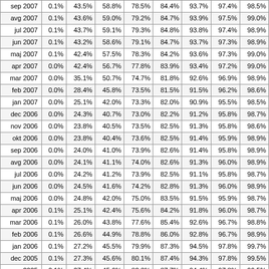|  |  |  |  |  |  |  |  |  |
| --- | --- | --- | --- | --- | --- | --- | --- | --- |
| sep 2007 | 0.1% | 43.5% | 58.8% | 78.5% | 84.4% | 93.7% | 97.4% | 98.5% |
| avg 2007 | 0.1% | 43.6% | 59.0% | 79.2% | 84.7% | 93.9% | 97.5% | 99.0% |
| jul 2007 | 0.1% | 43.7% | 59.1% | 79.3% | 84.8% | 93.8% | 97.4% | 98.9% |
| jun 2007 | 0.1% | 43.2% | 58.6% | 79.1% | 84.7% | 93.7% | 97.3% | 98.9% |
| maj 2007 | 0.1% | 42.4% | 57.5% | 78.3% | 84.2% | 93.6% | 97.3% | 99.0% |
| apr 2007 | 0.0% | 42.4% | 56.7% | 77.8% | 83.9% | 93.4% | 97.2% | 99.0% |
| mar 2007 | 0.0% | 35.1% | 50.7% | 74.7% | 81.8% | 92.6% | 96.9% | 98.9% |
| feb 2007 | 0.0% | 28.4% | 45.8% | 73.5% | 81.5% | 91.5% | 96.2% | 98.6% |
| jan 2007 | 0.0% | 25.1% | 42.0% | 73.3% | 82.0% | 90.9% | 95.5% | 98.5% |
| dec 2006 | 0.0% | 24.3% | 40.7% | 73.0% | 82.2% | 91.2% | 95.8% | 98.7% |
| nov 2006 | 0.0% | 23.8% | 40.5% | 73.5% | 82.5% | 91.3% | 95.8% | 98.6% |
| okt 2006 | 0.0% | 23.8% | 40.4% | 73.6% | 82.5% | 91.4% | 95.9% | 98.9% |
| sep 2006 | 0.0% | 24.0% | 41.0% | 73.9% | 82.6% | 91.4% | 95.8% | 98.9% |
| avg 2006 | 0.0% | 24.1% | 41.1% | 74.0% | 82.6% | 91.3% | 96.0% | 98.9% |
| jul 2006 | 0.0% | 24.2% | 41.2% | 73.9% | 82.5% | 91.1% | 95.8% | 98.7% |
| jun 2006 | 0.0% | 24.5% | 41.6% | 74.2% | 82.8% | 91.3% | 96.0% | 98.9% |
| maj 2006 | 0.0% | 24.8% | 42.0% | 75.0% | 83.5% | 91.5% | 95.9% | 98.7% |
| apr 2006 | 0.1% | 25.1% | 42.4% | 75.6% | 84.2% | 91.8% | 96.0% | 98.7% |
| mar 2006 | 0.1% | 26.0% | 43.8% | 77.6% | 85.4% | 92.6% | 96.7% | 98.8% |
| feb 2006 | 0.1% | 26.6% | 44.9% | 78.8% | 86.0% | 92.8% | 96.7% | 98.9% |
| jan 2006 | 0.1% | 27.2% | 45.5% | 79.9% | 87.3% | 94.5% | 97.8% | 99.7% |
| dec 2005 | 0.1% | 27.3% | 45.6% | 80.1% | 87.4% | 94.3% | 97.8% | 99.5% |
| nov 2005 | 0.1% | 27.4% | 45.6% | 80.3% | 87.7% | 94.4% | 97.8% | 99.5% |
| okt 2005 | 0.1% | 27.8% | 46.0% | 80.7% | 88.1% | 94.6% | 97.7% | 99.5% |
| sep 2005 | 0.1% | 28.0% | 46.3% | 81.1% | 88.5% | 94.9% | 97.9% | 99.7% |
| avg 2005 | 0.0% | 28.8% | 48.2% | 83.7% | 90.4% | 95.4% | 98.0% | 99.7% |
| jul 2005 | 0.0% | 30.0% | 50.2% | 86.6% | 92.0% | 96.6% | 98.5% | 99.7% |